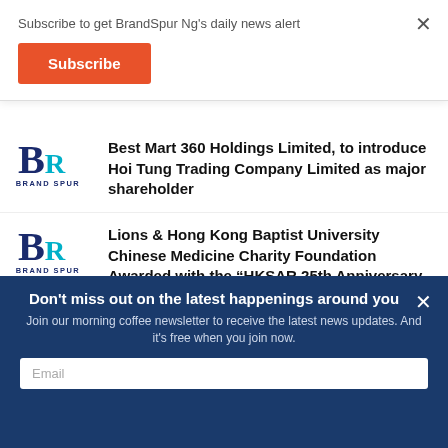Subscribe to get BrandSpur Ng's daily news alert
Subscribe
Best Mart 360 Holdings Limited, to introduce Hoi Tung Trading Company Limited as major shareholder
Lions & Hong Kong Baptist University Chinese Medicine Charity Foundation Awarded with the “HKSAR 25th Anniversary Enterprise Outstanding Contribution Awards” for serving the
Don't miss out on the latest happenings around you
Join our morning coffee newsletter to receive the latest news updates. And it's free when you join now.
Email